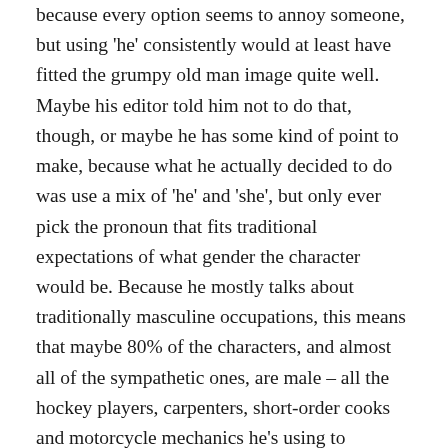because every option seems to annoy someone, but using 'he' consistently would at least have fitted the grumpy old man image quite well. Maybe his editor told him not to do that, though, or maybe he has some kind of point to make, because what he actually decided to do was use a mix of 'he' and 'she', but only ever pick the pronoun that fits traditional expectations of what gender the character would be. Because he mostly talks about traditionally masculine occupations, this means that maybe 80% of the characters, and almost all of the sympathetic ones, are male – all the hockey players, carpenters, short-order cooks and motorcycle mechanics he's using to demonstrate skilled interaction with the environment. The only female characters I remember are a gambling addict, a New Age self-help bore, a disapproving old lady, and one musician who actually gets to embody the positive qualities he's interested in. It's just weird, and I